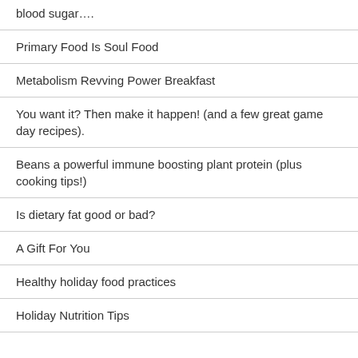blood sugar….
Primary Food Is Soul Food
Metabolism Revving Power Breakfast
You want it? Then make it happen! (and a few great game day recipes).
Beans a powerful immune boosting plant protein (plus cooking tips!)
Is dietary fat good or bad?
A Gift For You
Healthy holiday food practices
Holiday Nutrition Tips